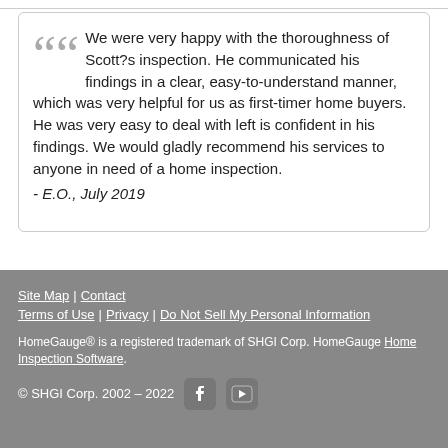We were very happy with the thoroughness of Scott?s inspection. He communicated his findings in a clear, easy-to-understand manner, which was very helpful for us as first-timer home buyers. He was very easy to deal with left is confident in his findings. We would gladly recommend his services to anyone in need of a home inspection.
- E.O., July 2019
Site Map | Contact | Terms of Use | Privacy | Do Not Sell My Personal Information
HomeGauge® is a registered trademark of SHGI Corp. HomeGauge Home Inspection Software.
© SHGI Corp. 2002 – 2022